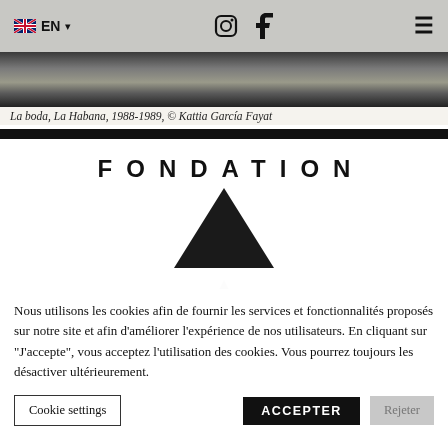EN  (language selector, Instagram icon, Facebook icon, hamburger menu)
[Figure (photo): Black and white photograph strip showing a wedding scene]
La boda, La Habana, 1988-1989, © Kattia García Fayat
[Figure (logo): Fondation logo with triangle/A shape below the word FONDATION in spaced uppercase letters]
Nous utilisons les cookies afin de fournir les services et fonctionnalités proposés sur notre site et afin d'améliorer l'expérience de nos utilisateurs. En cliquant sur "J'accepte", vous acceptez l'utilisation des cookies. Vous pourrez toujours les désactiver ultérieurement.
Cookie settings
ACCEPTER
Rejeter